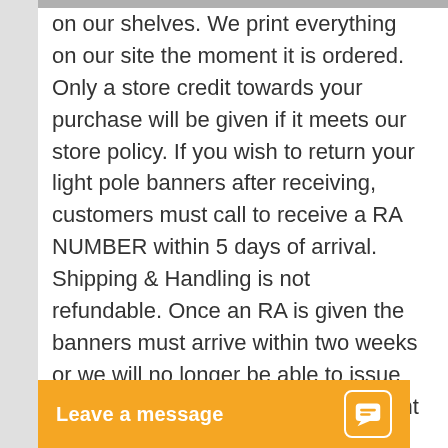on our shelves. We print everything on our site the moment it is ordered. Only a store credit towards your purchase will be given if it meets our store policy. If you wish to return your light pole banners after receiving, customers must call to receive a RA NUMBER within 5 days of arrival. Shipping & Handling is not refundable. Once an RA is given the banners must arrive within two weeks or we will no longer be able to issue an in-store credit. Only stock 2x5 light pole banner designs qualify for a store credit if it meets our store return policy.
For non stock de... 2'x5', we unfortu...